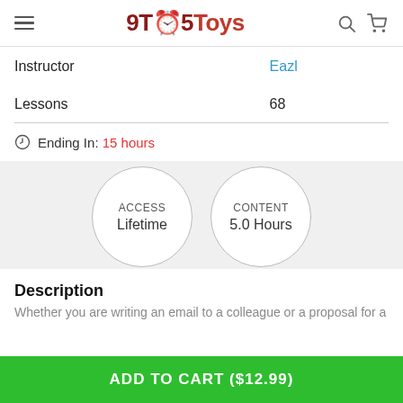9TO5Toys
| Field | Value |
| --- | --- |
| Instructor | Eazl |
| Lessons | 68 |
Ending In: 15 hours
[Figure (infographic): Two circular badges: ACCESS Lifetime and CONTENT 5.0 Hours]
Description
Whether you are writing an email to a colleague or a proposal for a
ADD TO CART ($12.99)